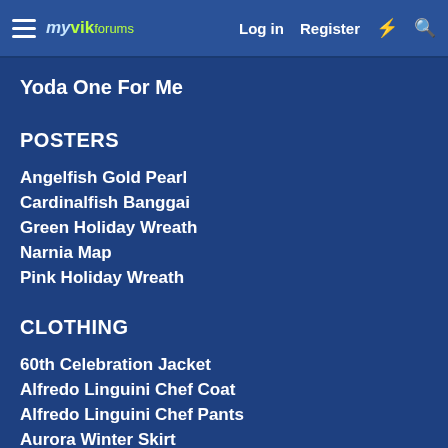myVik forums  Log in  Register
Yoda One For Me
POSTERS
Angelfish Gold Pearl
Cardinalfish Banggai
Green Holiday Wreath
Narnia Map
Pink Holiday Wreath
CLOTHING
60th Celebration Jacket
Alfredo Linguini Chef Coat
Alfredo Linguini Chef Pants
Aurora Winter Skirt
Aurora Winter Top